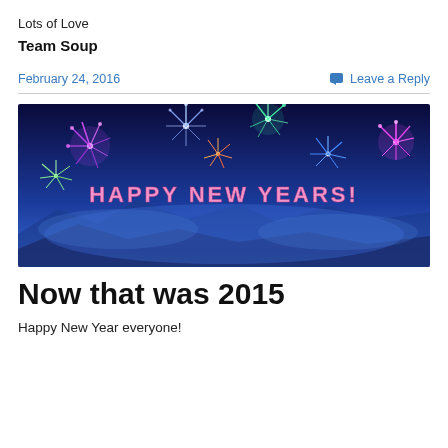Lots of Love
Team Soup
February 24, 2016
Leave a Reply
[Figure (photo): Banner image with fireworks on a dark blue sky background with text 'HAPPY NEW YEARS!']
Now that was 2015
Happy New Year everyone!